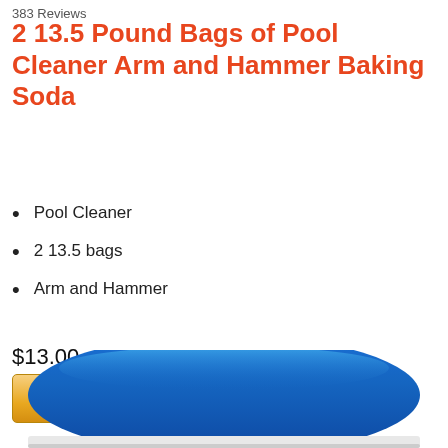383 Reviews
2 13.5 Pound Bags of Pool Cleaner Arm and Hammer Baking Soda
Pool Cleaner
2 13.5 bags
Arm and Hammer
$13.00
[Figure (screenshot): Amazon 'Buy on Amazon' button with Amazon logo]
[Figure (photo): Blue pool cleaner product, curved top arc shape visible at bottom of page]